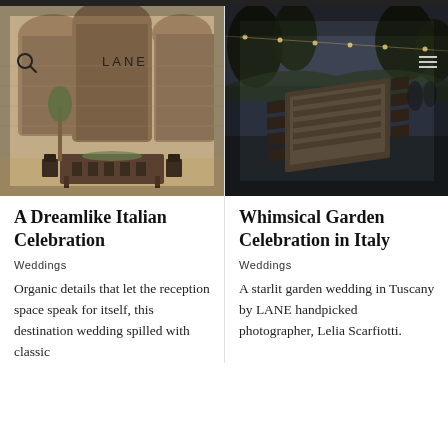[Figure (photo): A long outdoor dining table set in front of ancient stone ruins with arched openings, decorated with greenery. A search icon and 'LANE' branding overlay the image.]
A Dreamlike Italian Celebration
Weddings
Organic details that let the reception space speak for itself, this destination wedding spilled with classic
[Figure (photo): A long dining table set in a dark outdoor garden at dusk with string lights overhead, photographed from above at an angle.]
Whimsical Garden Celebration in Italy
Weddings
A starlit garden wedding in Tuscany by LANE handpicked photographer, Lelia Scarfiotti.